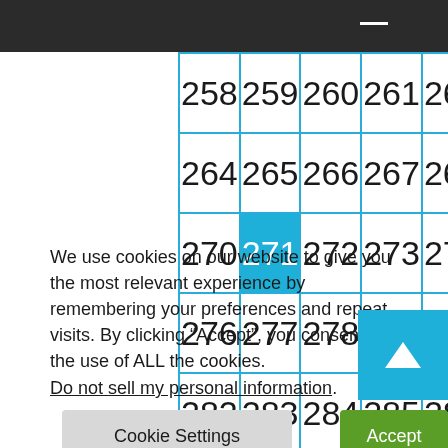| 258 | 259 | 260 | 261 | 262 | 263 |
| 264 | 265 | 266 | 267 | 268 | 269 |
| 270 | 271 | 272 | 273 | 274 | 275 |
| 276 | 277 | 278 | 279 | 280 | 281 |
| 282 | 283 | 284 | 285 | 286 | 287 |
We use cookies on our website to give you the most relevant experience by remembering your preferences and repeat visits. By clicking “Accept”, you consent to the use of ALL the cookies.
Do not sell my personal information.
Cookie Settings
Accept